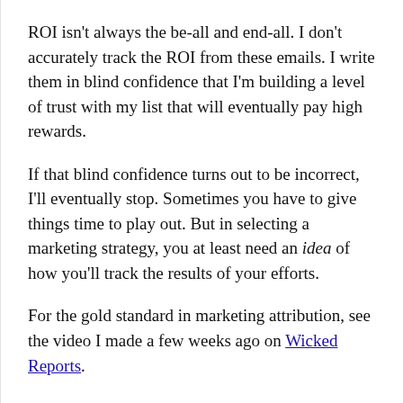ROI isn't always the be-all and end-all. I don't accurately track the ROI from these emails. I write them in blind confidence that I'm building a level of trust with my list that will eventually pay high rewards.
If that blind confidence turns out to be incorrect, I'll eventually stop. Sometimes you have to give things time to play out. But in selecting a marketing strategy, you at least need an idea of how you'll track the results of your efforts.
For the gold standard in marketing attribution, see the video I made a few weeks ago on Wicked Reports.